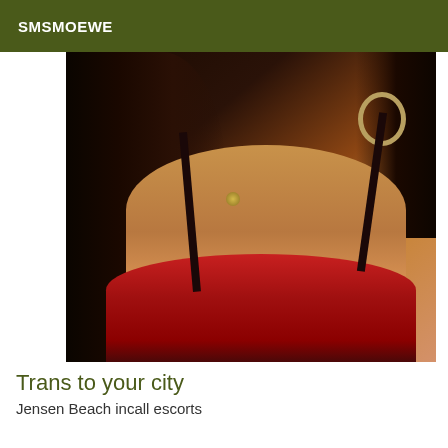SMSMOEWE
[Figure (photo): Close-up photo of a person with dark hair, hoop earrings, a necklace, and a red bra/lingerie top]
Trans to your city
Jensen Beach incall escorts